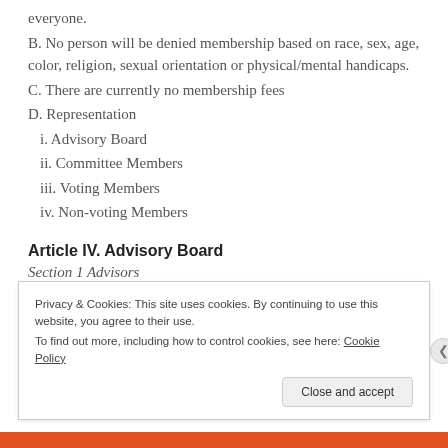everyone.
B. No person will be denied membership based on race, sex, age, color, religion, sexual orientation or physical/mental handicaps.
C. There are currently no membership fees
D. Representation
i. Advisory Board
ii. Committee Members
iii. Voting Members
iv. Non-voting Members
Article IV. Advisory Board
Section 1 Advisors
Privacy & Cookies: This site uses cookies. By continuing to use this website, you agree to their use.
To find out more, including how to control cookies, see here: Cookie Policy